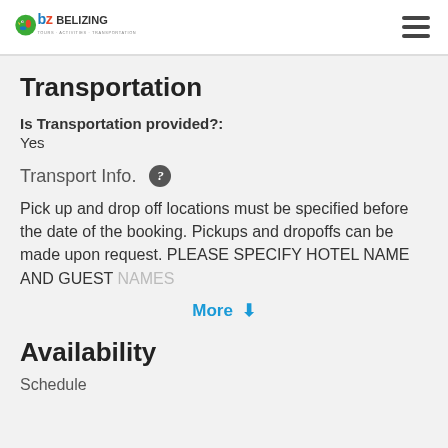Belizing — Tours · Activities · Transportation
Transportation
Is Transportation provided?:
Yes
Transport Info.
Pick up and drop off locations must be specified before the date of the booking. Pickups and dropoffs can be made upon request. PLEASE SPECIFY HOTEL NAME AND GUEST NAMES
More
Availability
Schedule